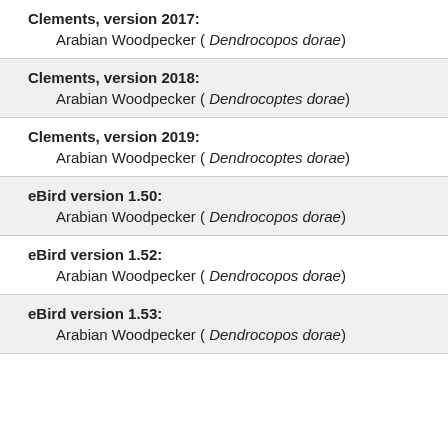Clements, version 2017: Arabian Woodpecker ( Dendrocopos dorae)
Clements, version 2018: Arabian Woodpecker ( Dendrocoptes dorae)
Clements, version 2019: Arabian Woodpecker ( Dendrocoptes dorae)
eBird version 1.50: Arabian Woodpecker ( Dendrocopos dorae)
eBird version 1.52: Arabian Woodpecker ( Dendrocopos dorae)
eBird version 1.53: Arabian Woodpecker ( Dendrocopos dorae)